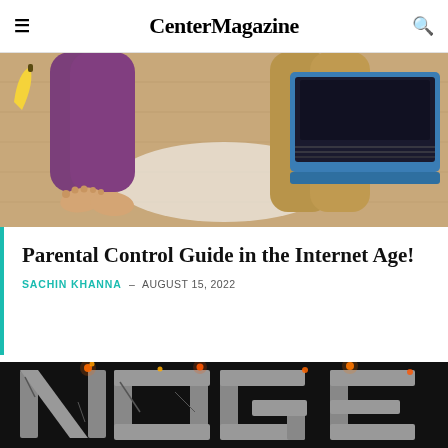Center Magazine
[Figure (photo): Overhead view of a child lying on a wooden floor in purple pants, bare feet curled, next to a person in tan pants sitting with a laptop computer. A yellow banana is visible at left.]
Parental Control Guide in the Internet Age!
SACHIN KHANNA – AUGUST 15, 2022
[Figure (photo): Dark stylized text graphic reading 'NOGE' (partially visible) with a stone/cracked texture and glowing embers or fire effects on a dark background.]